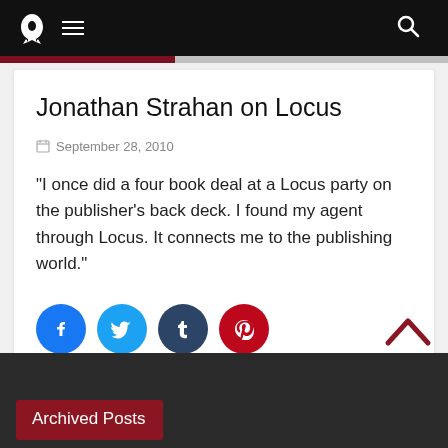Navigation bar with logo, menu, and search
Jonathan Strahan on Locus
September 28, 2010
“I once did a four book deal at a Locus party on the publisher’s back deck. I found my agent through Locus. It connects me to the publishing world.”
[Figure (infographic): Social share buttons: Facebook (blue), Twitter (light blue), Tumblr (dark blue-grey), Pinterest (red)]
Archived Posts